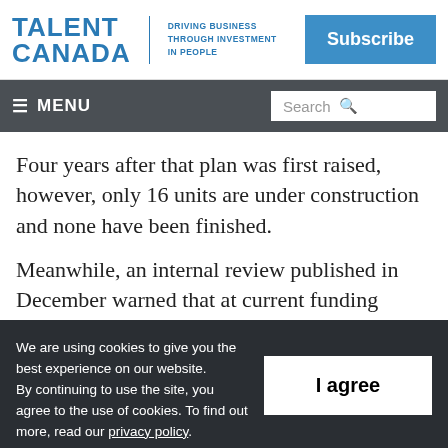TALENT CANADA | DRIVING BUSINESS THROUGH INVESTMENT IN PEOPLE | Subscribe
≡ MENU | Search
Four years after that plan was first raised, however, only 16 units are under construction and none have been finished.
Meanwhile, an internal review published in December warned that at current funding
We are using cookies to give you the best experience on our website. By continuing to use the site, you agree to the use of cookies. To find out more, read our privacy policy.